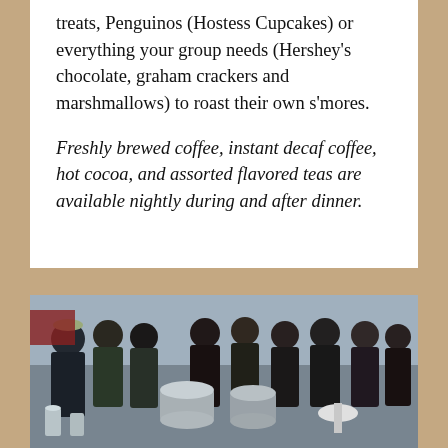treats, Penguinos (Hostess Cupcakes) or everything your group needs (Hershey's chocolate, graham crackers and marshmallows) to roast their own s'mores.
Freshly brewed coffee, instant decaf coffee, hot cocoa, and assorted flavored teas are available nightly during and after dinner.
[Figure (photo): Outdoor food service event with a crowd of people in winter jackets gathered around large stainless steel cooking pots and serving stations.]
Special Dietary Needs
Are concerns about meeting special dietary needs